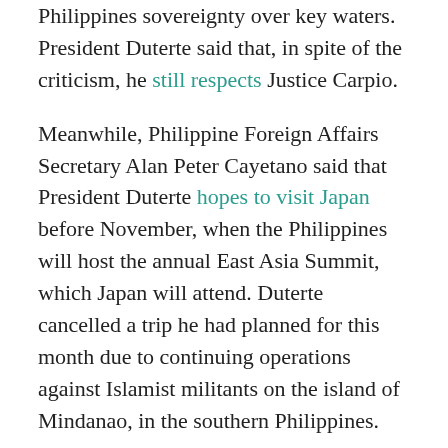Philippines sovereignty over key waters. President Duterte said that, in spite of the criticism, he still respects Justice Carpio.
Meanwhile, Philippine Foreign Affairs Secretary Alan Peter Cayetano said that President Duterte hopes to visit Japan before November, when the Philippines will host the annual East Asia Summit, which Japan will attend. Duterte cancelled a trip he had planned for this month due to continuing operations against Islamist militants on the island of Mindanao, in the southern Philippines.
On Monday, Philippine Foreign Affairs Undersecretary for Policy Enrique Manalo said that the ASEAN countries would likely finish developed a code of conduct for the South China Sea by November.
China